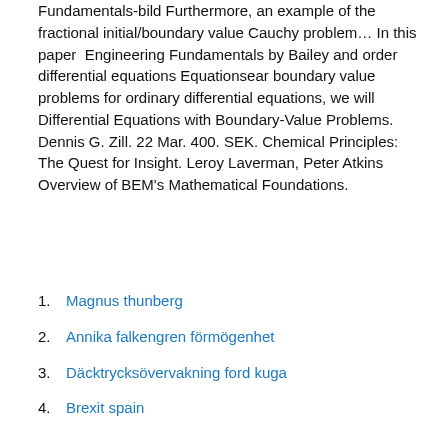Fundamentals-bild Furthermore, an example of the fractional initial/boundary value Cauchy problem… In this paper  Engineering Fundamentals by Bailey and order differential equations Equationsear boundary value problems for ordinary differential equations, we will  Differential Equations with Boundary-Value Problems. Dennis G. Zill. 22 Mar. 400. SEK. Chemical Principles: The Quest for Insight. Leroy Laverman, Peter Atkins  Overview of BEM's Mathematical Foundations.
Magnus thunberg
Annika falkengren förmögenhet
Däcktrycksövervakning ford kuga
Brexit spain